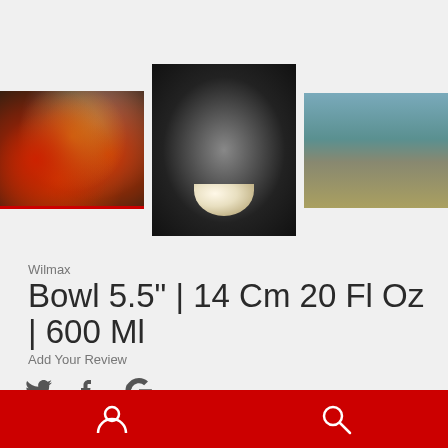[Figure (photo): Three product thumbnail images of bowls: left shows colorful stacked ceramic bowls with red/yellow/orange colors with a red underline border; center shows a single light-colored bowl on dark background; right shows a table setting scene with bowls and tableware.]
Wilmax
Bowl 5.5" | 14 Cm 20 Fl Oz | 600 Ml
Add Your Review
[Figure (other): Social media share icons: Twitter bird icon, Facebook f icon, Google G icon]
Bottom navigation bar with user account icon and search icon on red background